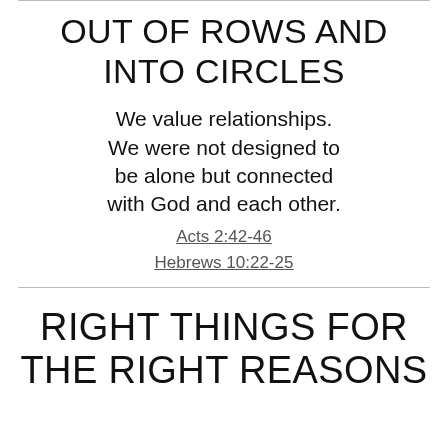OUT OF ROWS AND INTO CIRCLES
We value relationships. We were not designed to be alone but connected with God and each other.
Acts 2:42-46
Hebrews 10:22-25
RIGHT THINGS FOR THE RIGHT REASONS